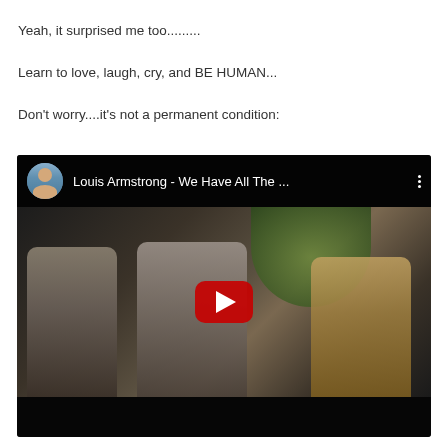Yeah, it surprised me too.........
Learn to love, laugh, cry, and BE HUMAN...
Don't worry....it's not a permanent condition:
[Figure (screenshot): YouTube video embed showing 'Louis Armstrong - We Have All The ...' with a profile avatar of an older man on the left, three-dot menu on the right, and a movie scene with three people in a car with a red YouTube play button overlay.]